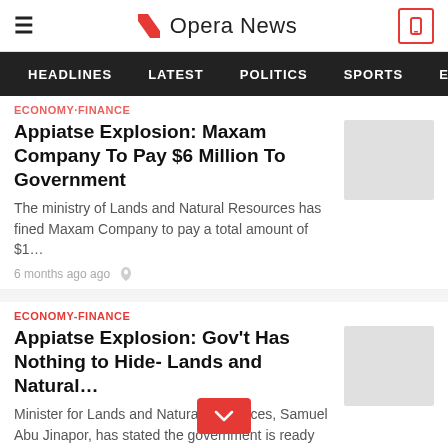Opera News
HEADLINES   LATEST   POLITICS   SPORTS   EN
ECONOMY·FINANCE
Appiatse Explosion: Maxam Company To Pay $6 Million To Government
The ministry of Lands and Natural Resources has fined Maxam Company to pay a total amount of $1…
6 months ago ago
ECONOMY-FINANCE
Appiatse Explosion: Gov't Has Nothing to Hide- Lands and Natural…
Minister for Lands and Natural Resources, Samuel Abu Jinapor, has stated the government is ready to…
6 months ago ago